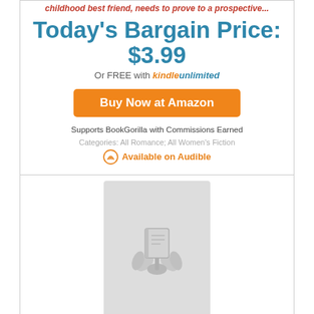childhood best friend, needs to prove to a prospective...
Today's Bargain Price: $3.99
Or FREE with kindle unlimited
Buy Now at Amazon
Supports BookGorilla with Commissions Earned
Categories: All Romance; All Women's Fiction
Available on Audible
[Figure (illustration): Book placeholder image with a stylized book and flower/lily graphic on gray background]